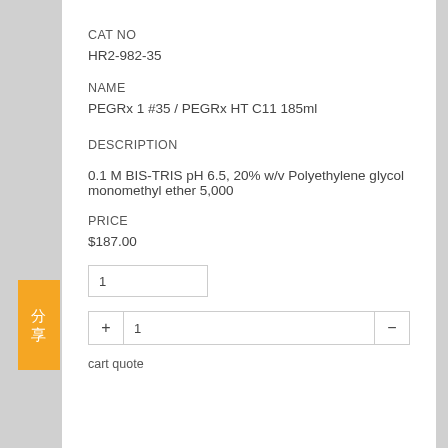CAT NO
HR2-982-35
NAME
PEGRx 1 #35 / PEGRx HT C11 185ml
DESCRIPTION
0.1 M BIS-TRIS pH 6.5, 20% w/v Polyethylene glycol monomethyl ether 5,000
PRICE
$187.00
1
1
cart quote